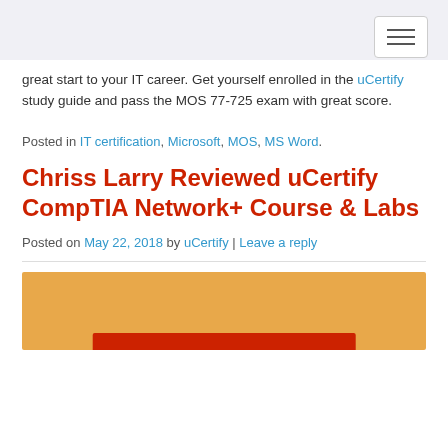[Navigation toggle button]
great start to your IT career. Get yourself enrolled in the uCertify study guide and pass the MOS 77-725 exam with great score.
Posted in IT certification, Microsoft, MOS, MS Word.
Chriss Larry Reviewed uCertify CompTIA Network+ Course & Labs
Posted on May 22, 2018 by uCertify | Leave a reply
[Figure (photo): Orange background image with a red banner/button element at the bottom center, likely a uCertify course promotional image]